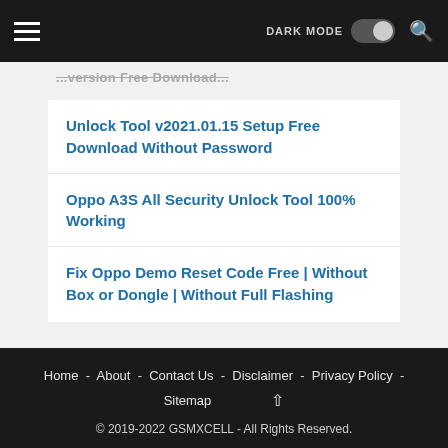DARK MODE [toggle] [search]
...version Free Download...
Unlock Tool v2021.01.15 Setup Free Download Without Password
Oppo A3S All Security Unlock Tool 100% Working
Fix Oppo Demo Reset Code Free | Without Box or Dongle | Without Full Flashing
Home - About - Contact Us - Disclaimer - Privacy Policy - Sitemap
© 2019-2022 GSMXCELL - All Rights Reserved.